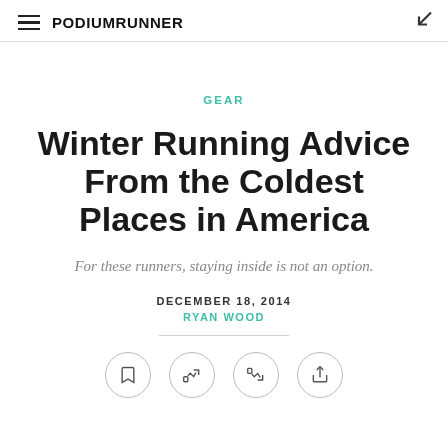PodiumRunner
GEAR
Winter Running Advice From the Coldest Places in America
For these runners, staying inside is not an option.
DECEMBER 18, 2014
RYAN WOOD